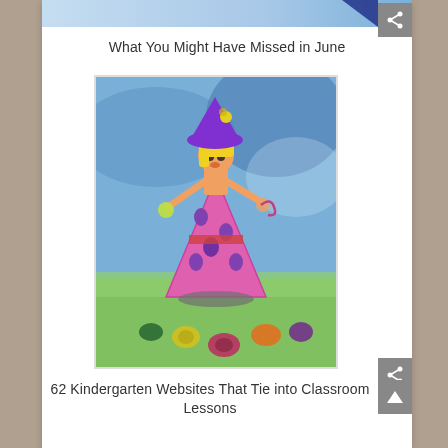[Figure (photo): Top partial image showing blue background with a dark blue triangle/arrow shape]
What You Might Have Missed in June
[Figure (illustration): Child's drawing/painting of a girl in a pink triangular dress with a purple hat, yellow hair, standing on green grass with colorful flowers, blue background]
62 Kindergarten Websites That Tie into Classroom Lessons